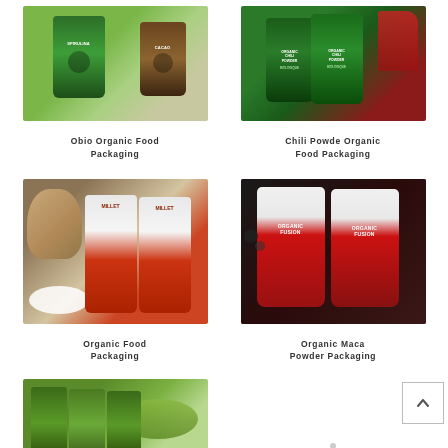[Figure (photo): Obio Organic Food Packaging - green and brown pouches of Spirulina and Cacao on green background]
Obio Organic Food Packaging
[Figure (photo): Chili Powder Organic Food Packaging - green stand-up pouches with chili peppers in background]
Chili Powde Organic Food Packaging
[Figure (photo): Organic Food Packaging - red and white Millet pouches with burlap sack and flour]
Organic Food Packaging
[Figure (photo): Organic Maca Powder Packaging - red Organic Fusion branded bags with berries]
Organic Maca Powder Packaging
[Figure (photo): Matcha or green powder packaging bags with green powder]
Organic Powder Packaging